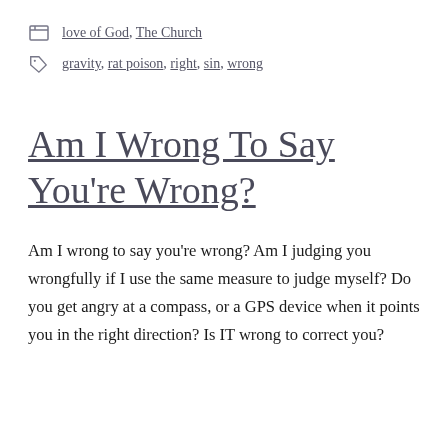love of God, The Church
gravity, rat poison, right, sin, wrong
Am I Wrong To Say You're Wrong?
Am I wrong to say you're wrong? Am I judging you wrongfully if I use the same measure to judge myself? Do you get angry at a compass, or a GPS device when it points you in the right direction? Is IT wrong to correct you?